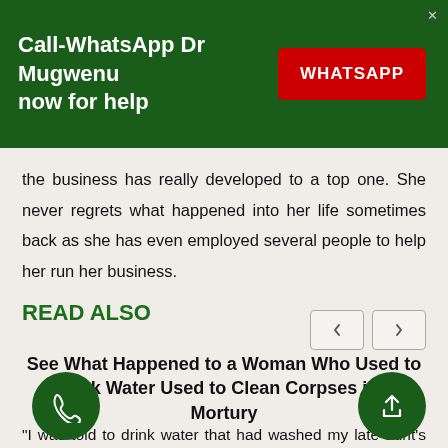[Figure (infographic): Dark green banner advertisement: 'Call-WhatsApp Dr Mugwenu now for help' with a red WHATSAPP button on the right and an X close button in corner]
the business has really developed to a top one. She never regrets what happened into her life sometimes back as she has even employed several people to help her run her business.
READ ALSO
[Figure (other): Navigation arrow buttons (left and right pagination controls)]
See What Happened to a Woman Who Used to Drink Water Used to Clean Corpses in a Mortury
"I was told to drink water that had washed my late aunt's body to restore my fertility but even after Read more